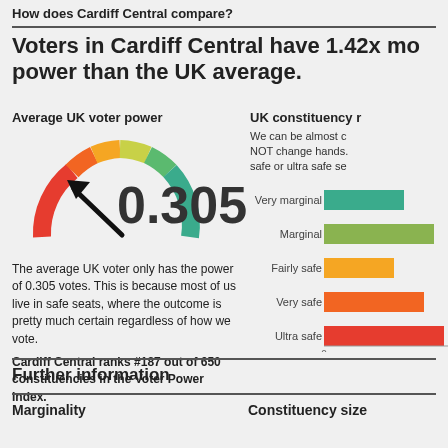How does Cardiff Central compare?
Voters in Cardiff Central have 1.42x more power than the UK average.
Average UK voter power
[Figure (other): Semicircular gauge meter showing voter power ranging from red (low) to green (high), with arrow pointing to lower-left region. Value displayed as 0.305.]
The average UK voter only has the power of 0.305 votes. This is because most of us live in safe seats, where the outcome is pretty much certain regardless of how we vote.
Cardiff Central ranks #187 out of 650 constituencies in the Voter Power Index.
UK constituency r
We can be almost certain that most seats will NOT change hands. A majority of seats are safe or ultra safe se
[Figure (bar-chart): UK constituency marginals]
Further information
Marginality
Constituency size